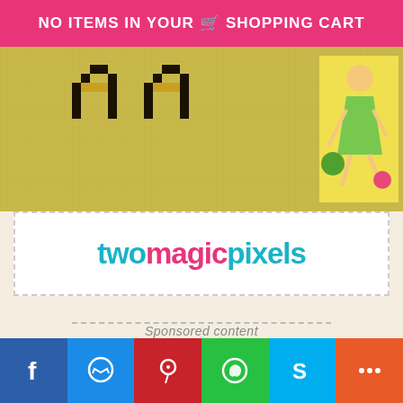NO ITEMS IN YOUR SHOPPING CART
[Figure (photo): Cross-stitch pattern image on yellow background showing stitched letters/design with a vintage illustration of a woman bowling on the right side]
[Figure (logo): twomagicpixels logo with teal and pink text on white background with dashed border]
Sponsored content
[Figure (other): Social sharing bar with Facebook, Messenger, Pinterest, WhatsApp, Skype, and More buttons]